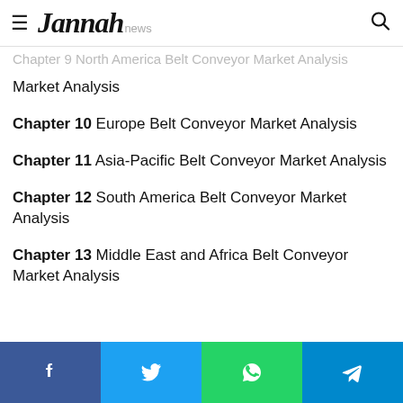Jannah news
Chapter 9 North America Belt Conveyor Market Analysis
Chapter 10 Europe Belt Conveyor Market Analysis
Chapter 11 Asia-Pacific Belt Conveyor Market Analysis
Chapter 12 South America Belt Conveyor Market Analysis
Chapter 13 Middle East and Africa Belt Conveyor Market Analysis
Social share bar: Facebook, Twitter, WhatsApp, Telegram